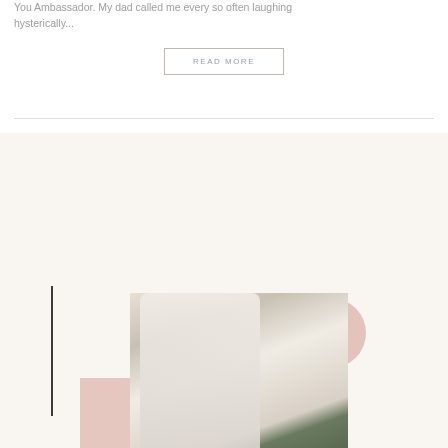You Ambassador. My dad called me every so often laughing hysterically...
READ MORE
[Figure (photo): A man in a green shirt interacting with a white statue of Colonel Sanders seated on a bench. Decorative geometric shapes (pink rectangle, pink circle, vertical black bar) overlay the composition on a cream background. 'WEEKLY WINNERS' text appears vertically on the right side.]